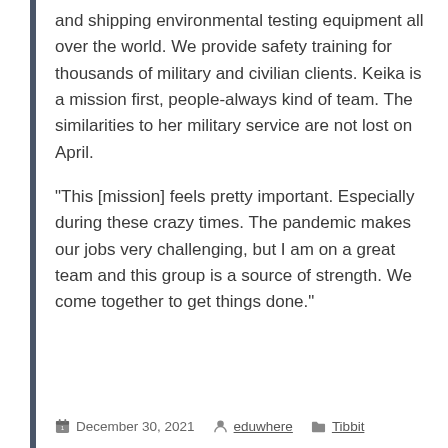and shipping environmental testing equipment all over the world.  We provide safety training for thousands of military and civilian clients. Keika is a mission first, people-always kind of team. The similarities to her military service are not lost on April.
“This [mission] feels pretty important. Especially during these crazy times. The pandemic makes our jobs very challenging, but I am on a great team and this group is a source of strength. We come together to get things done.”
December 30, 2021   eduwhere   Tibbit